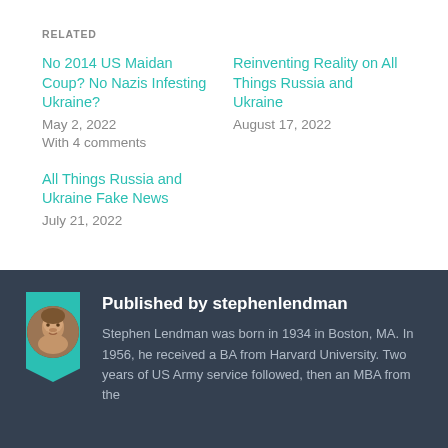RELATED
No 2014 US Maidan Coup? No Nazis Infesting Ukraine?
May 2, 2022
With 4 comments
Reinventing Reality on All Things Russia and Ukraine
August 17, 2022
All Things Russia and Ukraine Fake News
July 21, 2022
Published by stephenlendman
Stephen Lendman was born in 1934 in Boston, MA. In 1956, he received a BA from Harvard University. Two years of US Army service followed, then an MBA from the